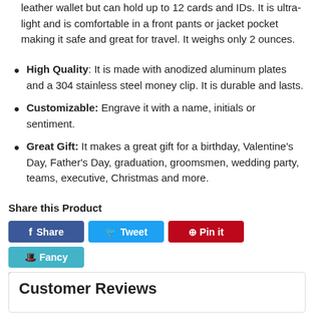leather wallet but can hold up to 12 cards and IDs. It is ultra-light and is comfortable in a front pants or jacket pocket making it safe and great for travel. It weighs only 2 ounces.
High Quality: It is made with anodized aluminum plates and a 304 stainless steel money clip. It is durable and lasts.
Customizable: Engrave it with a name, initials or sentiment.
Great Gift: It makes a great gift for a birthday, Valentine's Day, Father's Day, graduation, groomsmen, wedding party, teams, executive, Christmas and more.
Share this Product
Share | Tweet | Pin it | Fancy | +1
Customer Reviews